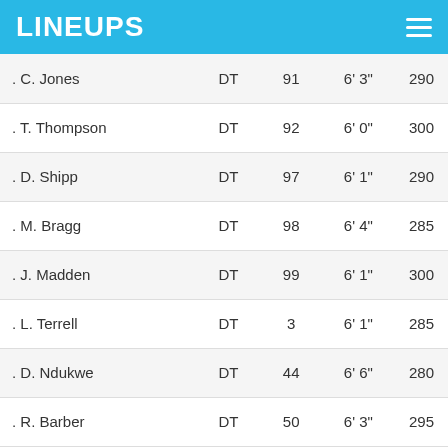LINEUPS
| Name | Position | Number | Height | Weight |
| --- | --- | --- | --- | --- |
| . C. Jones | DT | 91 | 6' 3" | 290 |
| . T. Thompson | DT | 92 | 6' 0" | 300 |
| . D. Shipp | DT | 97 | 6' 1" | 290 |
| . M. Bragg | DT | 98 | 6' 4" | 285 |
| . J. Madden | DT | 99 | 6' 1" | 300 |
| . L. Terrell | DT | 3 | 6' 1" | 285 |
| . D. Ndukwe | DT | 44 | 6' 6" | 280 |
| . R. Barber | DT | 50 | 6' 3" | 295 |